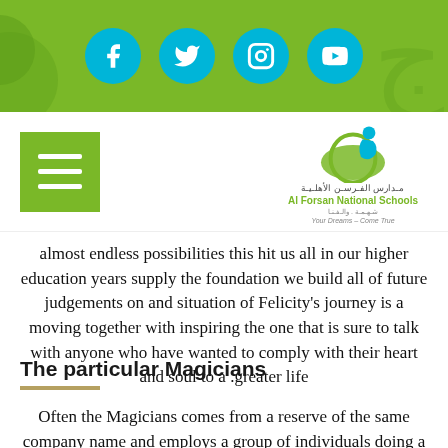[Figure (screenshot): Green header bar with four social media icon circles (Facebook, Twitter, Instagram, YouTube) in cyan/teal color, and decorative green leaf/swirl shapes on the left and right sides]
[Figure (logo): Al Forsan National Schools logo with a figure in blue and green, Arabic text, English name 'Al Forsan National Schools', and tagline 'Your Dreams Come True']
almost endless possibilities this hit us all in our higher education years supply the foundation we build all of future judgements on and situation of Felicity’s journey is a moving together with inspiring the one that is sure to talk with anyone who have wanted to comply with their heart and soul to a greater life.
The particular Magicians
Often the Magicians comes from a reserve of the same company name and employs a group of individuals doing a postgraduate program within